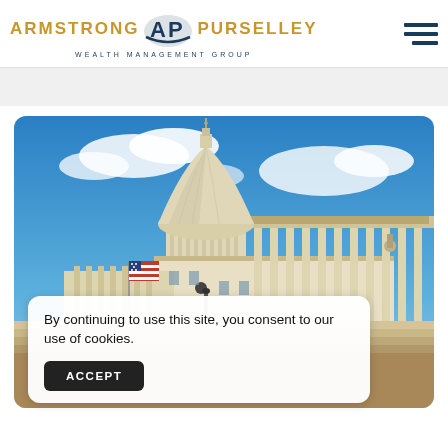ARMSTRONG PURSELLEY WEALTH MANAGEMENT GROUP
[Figure (photo): Photograph of the US Capitol building with dome and columns under a blue sky with clouds, American flag visible on left side]
By continuing to use this site, you consent to our use of cookies.
ACCEPT